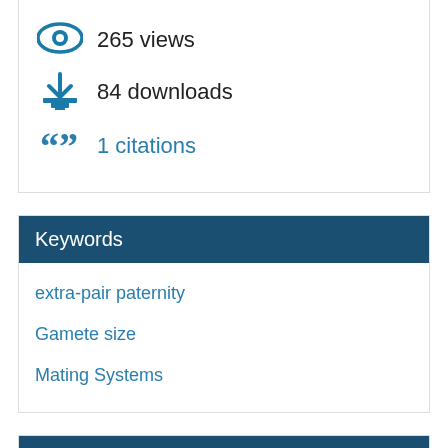265 views
84 downloads
1 citations
Keywords
extra-pair paternity
Gamete size
Mating Systems
License